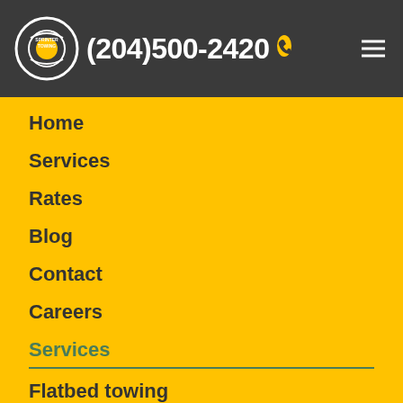Sprinter Towing (204)500-2420
Home
Services
Rates
Blog
Contact
Careers
Services
Flatbed towing
Wrecker towing